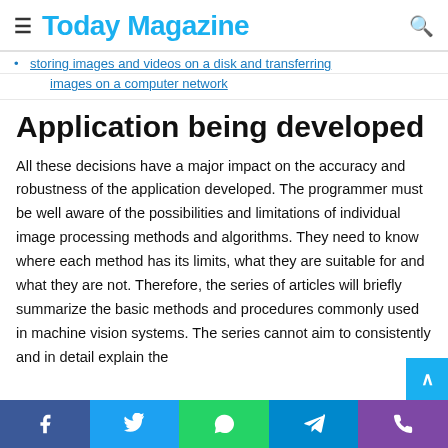≡ Today Magazine 🔍
storing images and videos on a disk and transferring images on a computer network
Application being developed
All these decisions have a major impact on the accuracy and robustness of the application developed. The programmer must be well aware of the possibilities and limitations of individual image processing methods and algorithms. They need to know where each method has its limits, what they are suitable for and what they are not. Therefore, the series of articles will briefly summarize the basic methods and procedures commonly used in machine vision systems. The series cannot aim to consistently and in detail explain the
Facebook Twitter WhatsApp Telegram Phone